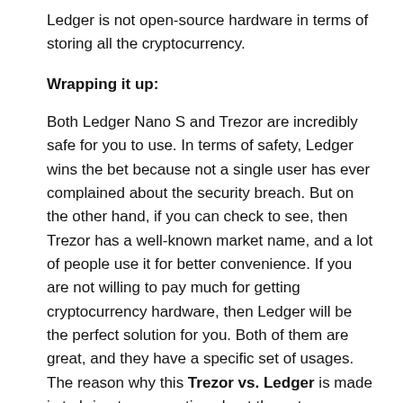Ledger is not open-source hardware in terms of storing all the cryptocurrency.
Wrapping it up:
Both Ledger Nano S and Trezor are incredibly safe for you to use. In terms of safety, Ledger wins the bet because not a single user has ever complained about the security breach. But on the other hand, if you can check to see, then Trezor has a well-known market name, and a lot of people use it for better convenience. If you are not willing to pay much for getting cryptocurrency hardware, then Ledger will be the perfect solution for you. Both of them are great, and they have a specific set of usages. The reason why this Trezor vs. Ledger is made is to bring to your notice about these two fantastic hardware wallet which is out in the market.